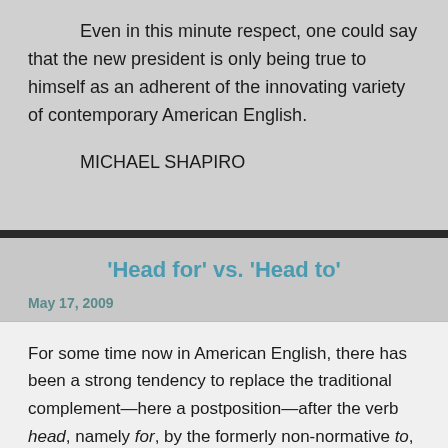Even in this minute respect, one could say that the new president is only being true to himself as an adherent of the innovating variety of contemporary American English.
MICHAEL SHAPIRO
‘Head for’ vs. ‘Head to’
May 17, 2009
For some time now in American English, there has been a strong tendency to replace the traditional complement—here a postposition—after the verb head, namely for, by the formerly non-normative to, resulting in a contemporary